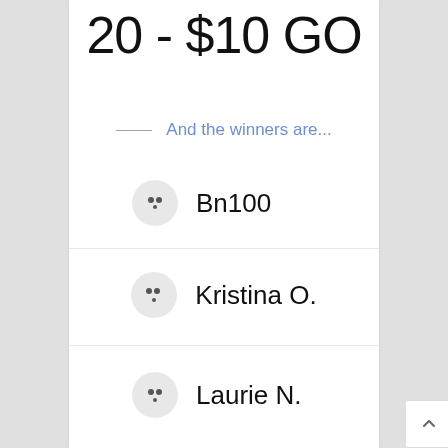20 - $10 GO
And the winners are...
Bn100
Kristina O.
Laurie N.